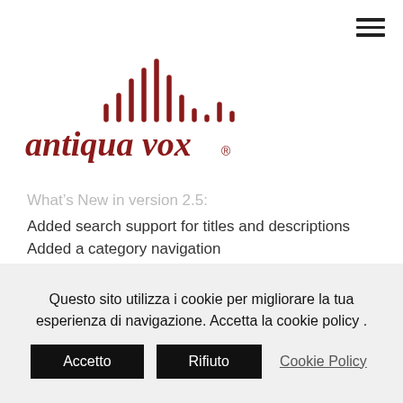[Figure (logo): Antiqua Vox logo with red sound wave bars and italic red text 'antiqua vox®']
What's New in version 2.5:
Added search support for titles and descriptions
Added a category navigation
Added sorting options
Added ability to paste to the notes text box
Added hotkey support to the PDF option
Added ability to print only the notes
Added ability to print an entire recipe
Added ability to sort only the notes
Added ability to sort only the recipes
Questo sito utilizza i cookie per migliorare la tua esperienza di navigazione. Accetta la cookie policy .
Accetto | Rifiuto | Cookie Policy